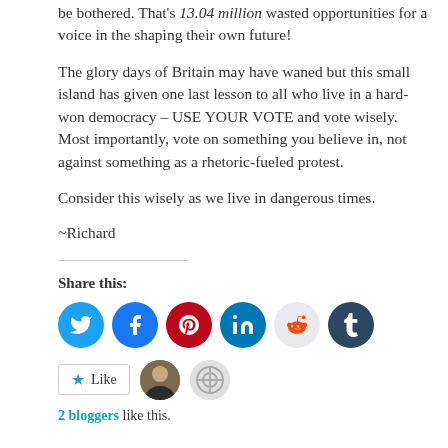be bothered. That's 13.04 million wasted opportunities for a voice in the shaping their own future!
The glory days of Britain may have waned but this small island has given one last lesson to all who live in a hard-won democracy – USE YOUR VOTE and vote wisely. Most importantly, vote on something you believe in, not against something as a rhetoric-fueled protest.
Consider this wisely as we live in dangerous times.
~Richard
Share this:
[Figure (infographic): Social share buttons: Twitter (blue), Facebook (blue), Pinterest (red), LinkedIn (teal), Reddit (light grey), Tumblr (dark navy)]
2 bloggers like this.